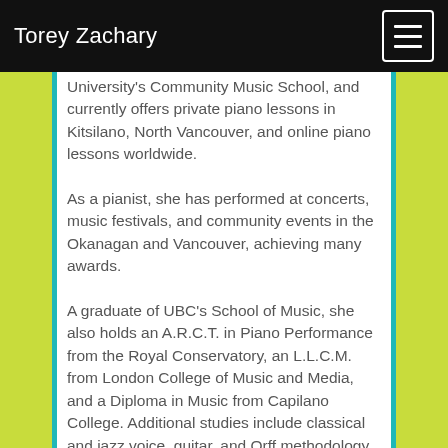Torey Zachary
University's Community Music School, and currently offers private piano lessons in Kitsilano, North Vancouver, and online piano lessons worldwide.
As a pianist, she has performed at concerts, music festivals, and community events in the Okanagan and Vancouver, achieving many awards.
A graduate of UBC's School of Music, she also holds an A.R.C.T. in Piano Performance from the Royal Conservatory, an L.L.C.M. from London College of Music and Media, and a Diploma in Music from Capilano College. Additional studies include classical and jazz voice, guitar, and Orff methodology.